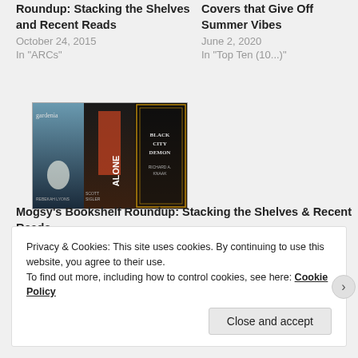Roundup: Stacking the Shelves and Recent Reads
October 24, 2015
In "ARCs"
Covers that Give Off Summer Vibes
June 2, 2020
In "Top Ten (10...)"
[Figure (photo): Three book covers displayed side by side: Gardenia, Alone by Scott Sigler, and Black City Demon]
Mogsy's Bookshelf Roundup: Stacking the Shelves & Recent Reads
March 11, 2017
In "ARCs"
Privacy & Cookies: This site uses cookies. By continuing to use this website, you agree to their use.
To find out more, including how to control cookies, see here: Cookie Policy
Close and accept